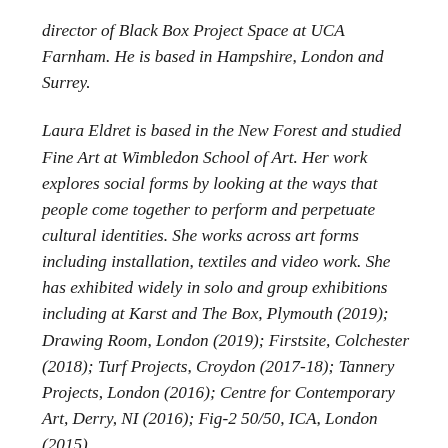director of Black Box Project Space at UCA Farnham. He is based in Hampshire, London and Surrey.
Laura Eldret is based in the New Forest and studied Fine Art at Wimbledon School of Art. Her work explores social forms by looking at the ways that people come together to perform and perpetuate cultural identities. She works across art forms including installation, textiles and video work. She has exhibited widely in solo and group exhibitions including at Karst and The Box, Plymouth (2019); Drawing Room, London (2019); Firstsite, Colchester (2018); Turf Projects, Croydon (2017-18); Tannery Projects, London (2016); Centre for Contemporary Art, Derry, NI (2016); Fig-2 50/50, ICA, London (2015).